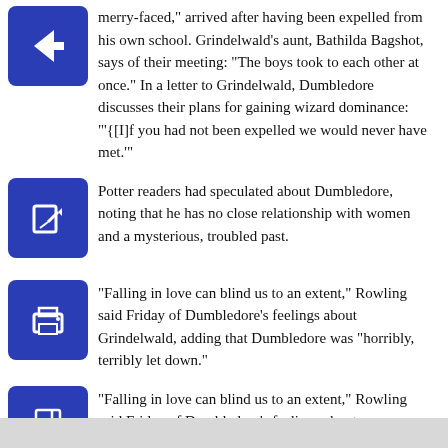merry-faced,” arrived after having been expelled from his own school. Grindelwald’s aunt, Bathilda Bagshot, says of their meeting: “The boys took to each other at once.” In a letter to Grindelwald, Dumbledore discusses their plans for gaining wizard dominance: “‘[I]f you had not been expelled we would never have met.’”
Potter readers had speculated about Dumbledore, noting that he has no close relationship with women and a mysterious, troubled past.
“Falling in love can blind us to an extent,” Rowling said Friday of Dumbledore’s feelings about Grindelwald, adding that Dumbledore was “horribly, terribly let down.”
Dumbledore’s love, she observed, was his “great tragedy.”
—
Associated Press writer Deepti Hajela contributed to this report.